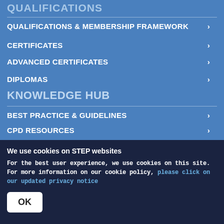QUALIFICATIONS
QUALIFICATIONS & MEMBERSHIP FRAMEWORK
CERTIFICATES
ADVANCED CERTIFICATES
DIPLOMAS
KNOWLEDGE HUB
BEST PRACTICE & GUIDELINES
CPD RESOURCES
JURISDICTIONAL REPORTS
STEP JOURNAL
EVENTS
We use cookies on STEP websites
For the best user experience, we use cookies on this site. For more information on our cookie policy, please click on our updated privacy notice